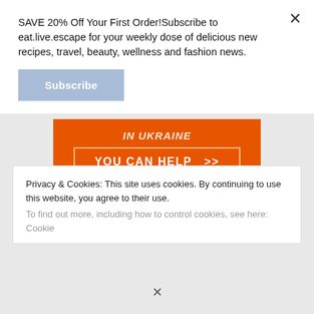SAVE 20% Off Your First Order!Subscribe to eat.live.escape for your weekly dose of delicious new recipes, travel, beauty, wellness and fashion news.
Subscribe
[Figure (infographic): Orange Direct Relief advertisement banner with 'YOU CAN HELP >>' button and Direct Relief logo]
Privacy & Cookies: This site uses cookies. By continuing to use this website, you agree to their use.
To find out more, including how to control cookies, see here: Cookie